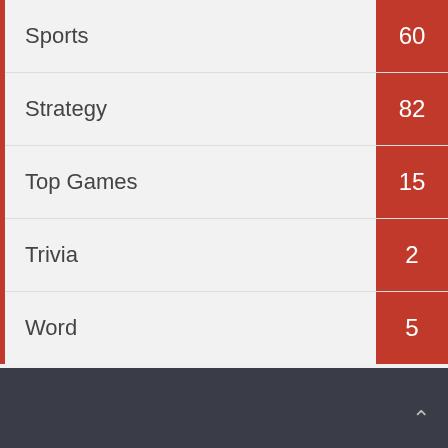Sports 60
Strategy 82
Top Games 15
Trivia 2
Word 5
Fix Android Game data Issues
Android Game Data Issues&Fix